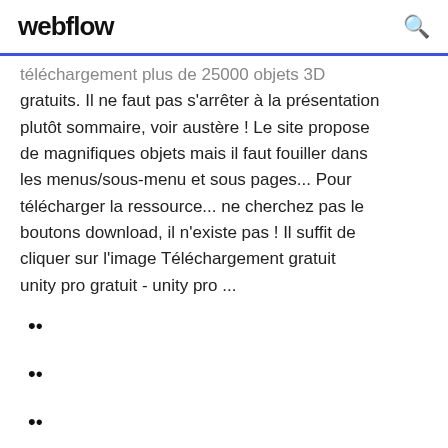webflow
téléchargement plus de 25000 objets 3D gratuits. Il ne faut pas s'arrêter à la présentation plutôt sommaire, voir austère ! Le site propose de magnifiques objets mais il faut fouiller dans les menus/sous-menu et sous pages... Pour télécharger la ressource... ne cherchez pas le boutons download, il n'existe pas ! Il suffit de cliquer sur l'image Téléchargement gratuit unity pro gratuit - unity pro ...